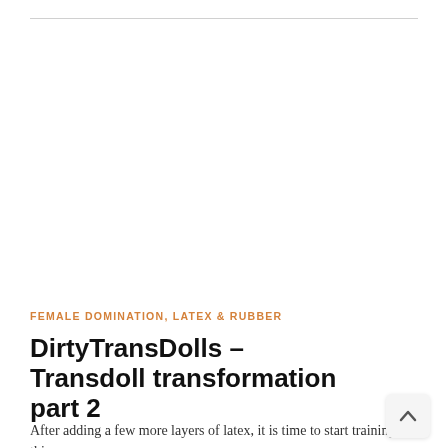FEMALE DOMINATION, LATEX & RUBBER
DirtyTransDolls – Transdoll transformation part 2
After adding a few more layers of latex, it is time to start training this